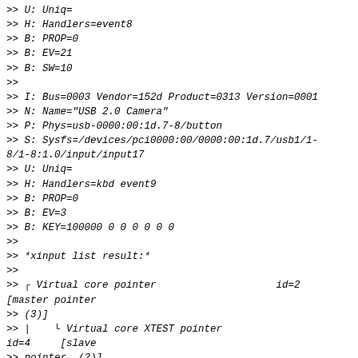>> U: Uniq=
>> H: Handlers=event8
>> B: PROP=0
>> B: EV=21
>> B: SW=10
>>
>> I: Bus=0003 Vendor=152d Product=0313 Version=0001
>> N: Name="USB 2.0 Camera"
>> P: Phys=usb-0000:00:1d.7-8/button
>> S: Sysfs=/devices/pci0000:00/0000:00:1d.7/usb1/1-8/1-8:1.0/input/input17
>> U: Uniq=
>> H: Handlers=kbd event9
>> B: PROP=0
>> B: EV=3
>> B: KEY=100000 0 0 0 0 0 0
>>
>> *xinput list result:*
>>
>> ⌐ Virtual core pointer                              id=2
[master pointer
>> (3)]
>> |    ↳ Virtual core XTEST pointer
id=4     [slave
>> pointer  (2)]
>> |    ↳ USB Optical Mouse
id=10    [slave
>> pointer  (2)]
>> ⌐ Virtual core keyboard                             id=3
[master keyboard